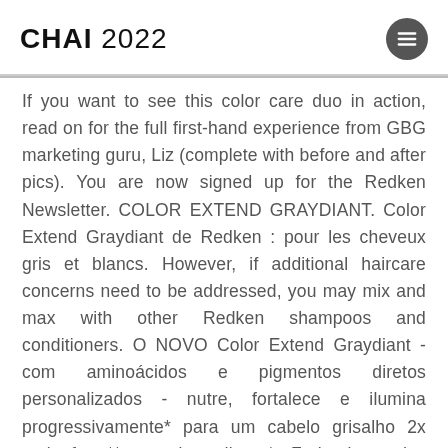CHAI 2022
If you want to see this color care duo in action, read on for the full first-hand experience from GBG marketing guru, Liz (complete with before and after pics). You are now signed up for the Redken Newsletter. COLOR EXTEND GRAYDIANT. Color Extend Graydiant de Redken : pour les cheveux gris et blancs. However, if additional haircare concerns need to be addressed, you may mix and max with other Redken shampoos and conditioners. O NOVO Color Extend Graydiant - com aminoácidos e pigmentos diretos personalizados - nutre, fortalece e ilumina progressivamente* para um cabelo grisalho 2x mais forte** e mais radiante*. Farbanlagerndes Conditioner für silbernes & graues Haar. 20,52 € 14,16 € Promoção válida de 2019-02-01 . Redken emails. Pat dry with absorbent cotton. FINDE EINEN SALON. Color Extend Graydiant Conditioner uses violet and silver pigments to tone, strengthen and